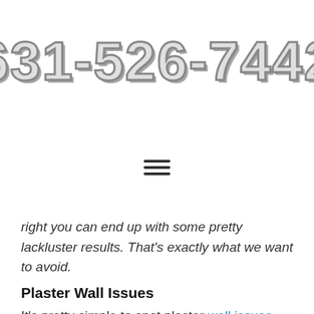631-526-7442
[Figure (other): Hamburger menu icon with three horizontal lines]
right you can end up with some pretty lackluster results. That's exactly what we want to avoid.
Plaster Wall Issues
It's pretty simple to spot plaster wall issues, it's pretty much going to be a crack or a bulge. When things get really bad the whole wall is literally going to be crumbling in your hands. A lot of times though what happens is that people end up just overlooking these issues. By the time that you go to address them you find that there are more